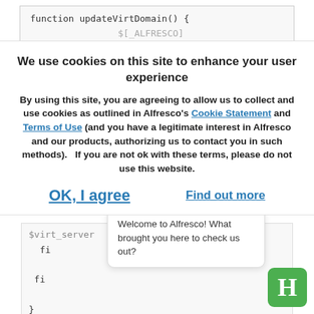function updateVirtDomain() {
We use cookies on this site to enhance your user experience
By using this site, you are agreeing to allow us to collect and use cookies as outlined in Alfresco's Cookie Statement and Terms of Use (and you have a legitimate interest in Alfresco and our products, authorizing us to contact you in such methods).   If you are not ok with these terms, please do not use this website.
OK, I agree    Find out more
$virt_server
  fi
 fi
}
Welcome to Alfresco! What brought you here to check us out?
# See how we were called.